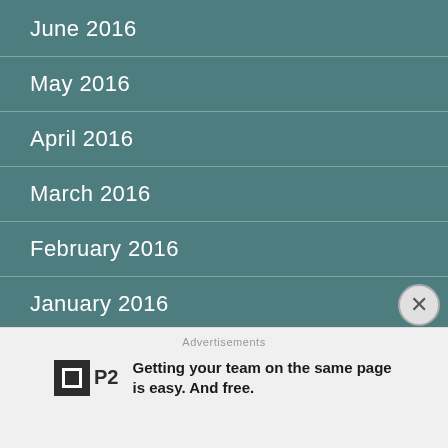June 2016
May 2016
April 2016
March 2016
February 2016
January 2016
December 2015
November 2015
October 2015
September 2015
August 2015
Advertisements
Getting your team on the same page is easy. And free.